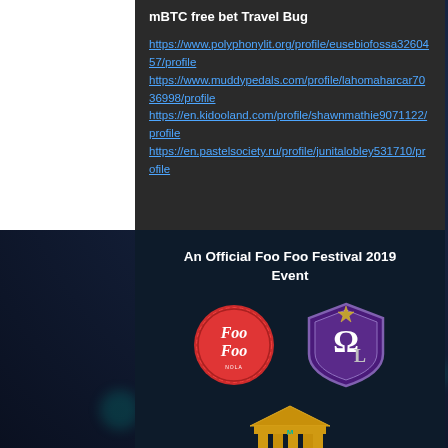mBTC free bet Travel Bug
https://www.polyphonylit.org/profile/eusebiofossa3260457/profile
https://www.muddypedals.com/profile/lahomaharcar7036998/profile
https://en.kidooland.com/profile/shawnmathie9071122/profile
https://en.pastelsociety.ru/profile/junitalobley531710/profile
An Official Foo Foo Festival 2019 Event
[Figure (logo): Foo Foo festival red circular badge logo with cursive Foo Foo text]
[Figure (logo): Purple shield logo with Omega symbol and L letter, Omega L organization emblem]
[Figure (logo): Gold classical building/temple logo with teal accent and letter M]